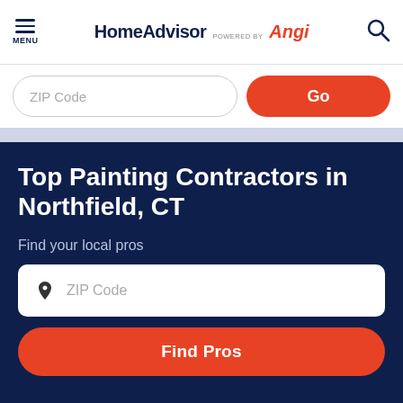MENU | HomeAdvisor powered by Angi
ZIP Code
Go
Top Painting Contractors in Northfield, CT
Find your local pros
ZIP Code
Find Pros